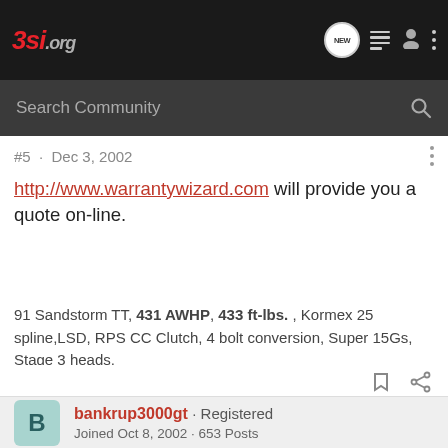3si.org
Search Community
#5 · Dec 3, 2002
http://www.warrantywizard.com will provide you a quote on-line.
91 Sandstorm TT, 431 AWHP, 433 ft-lbs. , Kormex 25 spline,LSD, RPS CC Clutch, 4 bolt conversion, Super 15Gs, Stage 3 heads,
bankrup3000gt · Registered
Joined Oct 8, 2002 · 653 Posts